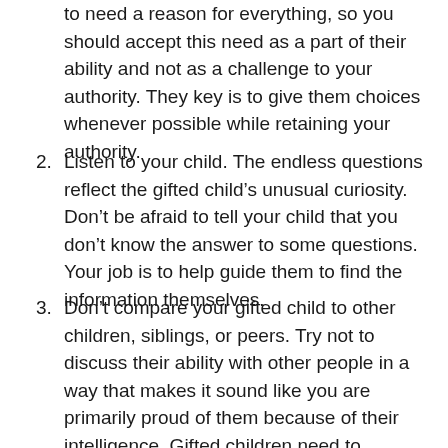to need a reason for everything, so you should accept this need as a part of their ability and not as a challenge to your authority. They key is to give them choices whenever possible while retaining your authority.
2. Listen to your child. The endless questions reflect the gifted child's unusual curiosity. Don't be afraid to tell your child that you don't know the answer to some questions. Your job is to help guide them to find the information themselves.
3. Don't compare your gifted child to other children, siblings, or peers. Try not to discuss their ability with other people in a way that makes it sound like you are primarily proud of them because of their intelligence. Gifted children need to understand that their advanced learning ability makes them